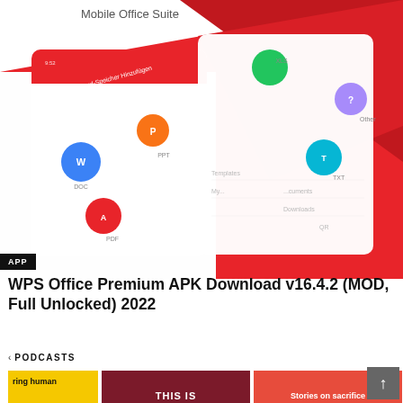[Figure (screenshot): WPS Office Mobile Office Suite app screenshot showing colorful file-type icons (DOC, XLS, PPT, PDF, TXT, Other) on white cards against a red geometric background. The text 'Mobile Office Suite' appears at the top.]
APP
WPS Office Premium APK Download v16.4.2 (MOD, Full Unlocked) 2022
< PODCASTS
[Figure (screenshot): Row of podcast cover thumbnails: yellow card with 'ring human' text, dark red card with 'THIS IS' and card icons, red card with 'Stories on sacrifice' text, pink card with yellow gear icon.]